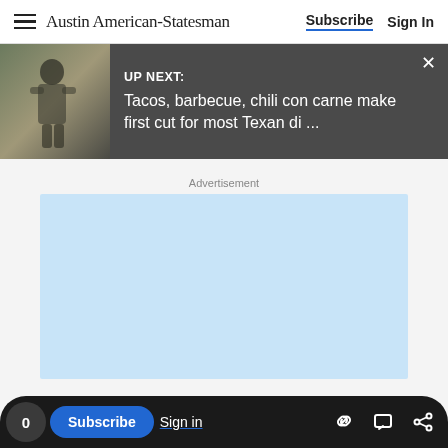Austin American-Statesman | Subscribe | Sign In
[Figure (screenshot): Up Next banner with thumbnail image of person in apron outdoors, dark gray background. Text: UP NEXT: Tacos, barbecue, chili con carne make first cut for most Texan di ... with close X button]
Advertisement
[Figure (other): Light blue advertisement placeholder rectangle]
0 | Subscribe | Sign in | [link icon] [comment icon] [share icon]